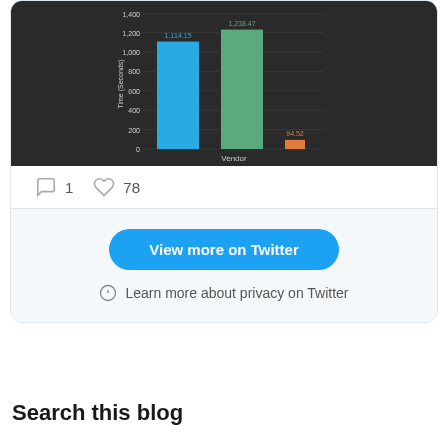[Figure (bar-chart): Time (Seconds) by Vendor]
1 comment, 78 likes
View more on Twitter
Learn more about privacy on Twitter
Search this blog